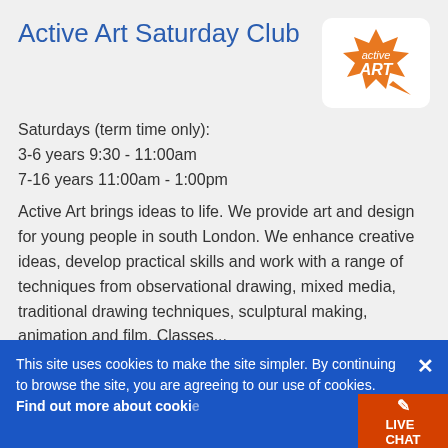Active Art Saturday Club
[Figure (logo): Active Art logo — orange speech-bubble/star shape with text 'active ART' in white on orange background]
Saturdays (term time only):
3-6 years 9:30 - 11:00am
7-16 years 11:00am - 1:00pm
Active Art brings ideas to life. We provide art and design for young people in south London. We enhance creative ideas, develop practical skills and work with a range of techniques from observational drawing, mixed media, traditional drawing techniques, sculptural making, animation and film. Classes...
+ Add to Shortlist
07775 781 332
This site uses cookies to make the site simpler. By continuing to browse the site, you are agreeing to our use of cookies. Find out more about cookies